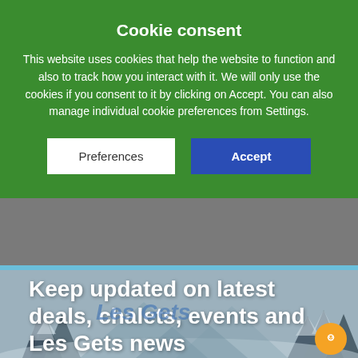Cookie consent
This website uses cookies that help the website to function and also to track how you interact with it. We will only use the cookies if you consent to it by clicking on Accept. You can also manage individual cookie preferences from Settings.
Preferences | Accept
[Figure (photo): Winter snow scene with snow-covered pine trees and mountain landscape, used as hero background image for a ski chalet website]
Keep updated on latest deals, chalets, events and Les Gets news
Signup for the latest and greatest from Chalets 1066 and Les Gets. Get tips and